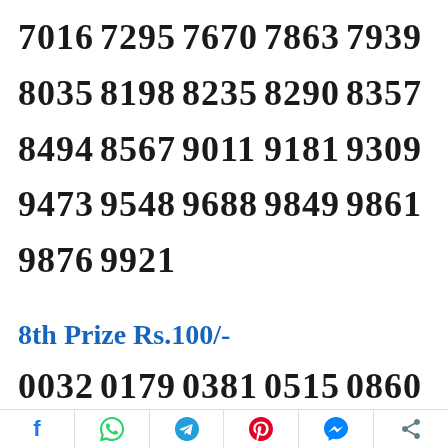7016 7295 7670 7863 7939
8035 8198 8235 8290 8357
8494 8567 9011 9181 9309
9473 9548 9688 9849 9861
9876 9921
8th Prize Rs.100/-
0032 0179 0381 0515 0860
1019 1066 1067 1190 1220
1228 1344 1345 1449 1533